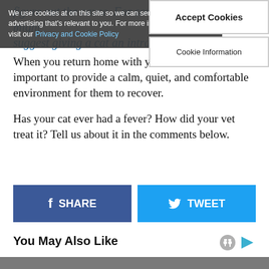We use cookies at on this site so we can serve up content and advertising that's relevant to you. For more information, please visit our Privacy and Cookie Policy
Accept Cookies
Cookie Information
figure out the cause. For some of the causes, vets might suggest giving a cat an intravenous drip
When you return home with your feline, it's important to provide a calm, quiet, and comfortable environment for them to recover.
Has your cat ever had a fever? How did your vet treat it? Tell us about it in the comments below.
SHARE
TWEET
You May Also Like
My Topics